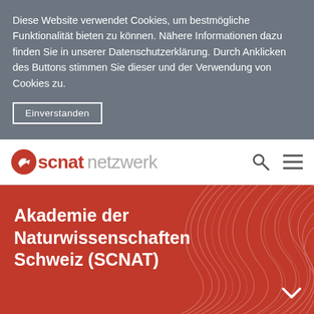Diese Website verwendet Cookies, um bestmögliche Funktionalität bieten zu können. Nähere Informationen dazu finden Sie in unserer Datenschutzerklärung. Durch Anklicken des Buttons stimmen Sie dieser und der Verwendung von Cookies zu.
Einverstanden
[Figure (logo): SCNAT netzwerk logo with red circular icon, bold red 'scnat' text and grey 'netzwerk' text, search icon, and hamburger menu icon]
Akademie der Naturwissenschaften Schweiz (SCNAT)
> SCNAT netzwerk
[Figure (infographic): Social media icons: Facebook, LinkedIn, Twitter, share]